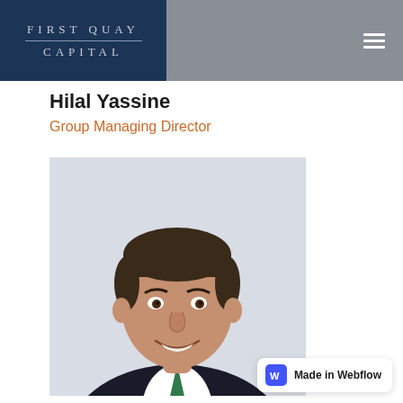FIRST QUAY CAPITAL
Hilal Yassine
Group Managing Director
[Figure (photo): Professional headshot of Hilal Yassine, a middle-aged man with short dark hair, wearing a dark suit with a white shirt and green tie, smiling against a light grey background.]